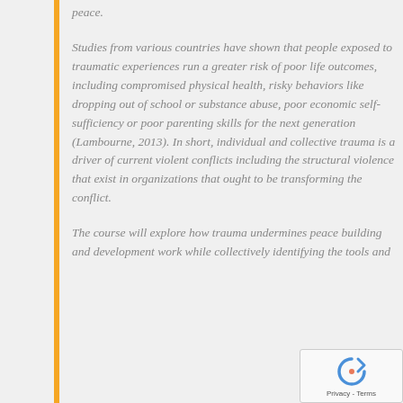peace.
Studies from various countries have shown that people exposed to traumatic experiences run a greater risk of poor life outcomes, including compromised physical health, risky behaviors like dropping out of school or substance abuse, poor economic self-sufficiency or poor parenting skills for the next generation (Lambourne, 2013). In short, individual and collective trauma is a driver of current violent conflicts including the structural violence that exist in organizations that ought to be transforming the conflict.
The course will explore how trauma undermines peace building and development work while collectively identifying the tools and